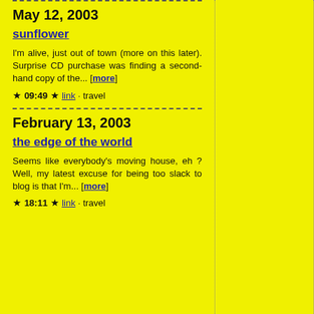May 12, 2003
sunflower
I'm alive, just out of town (more on this later). Surprise CD purchase was finding a second-hand copy of the... [more]
★ 09:49 ★ link · travel
February 13, 2003
the edge of the world
Seems like everybody's moving house, eh ? Well, my latest excuse for being too slack to blog is that I'm... [more]
★ 18:11 ★ link · travel